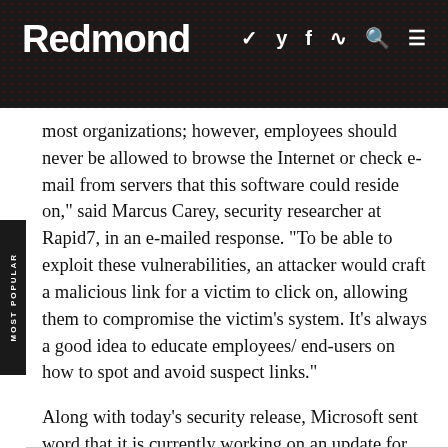Redmond
most organizations; however, employees should never be allowed to browse the Internet or check e-mail from servers that this software could reside on," said Marcus Carey, security researcher at Rapid7, in an e-mailed response. "To be able to exploit these vulnerabilities, an attacker would craft a malicious link for a victim to click on, allowing them to compromise the victim's system. It's always a good idea to educate employees/ end-users on how to spot and avoid suspect links."
Along with today's security release, Microsoft sent word that it is currently working on an update for Internet Explorer 10 to include a security fix for Adobe Flash that was released last month.